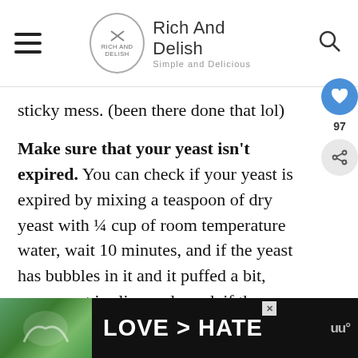Rich And Delish — Simple and Delicious
sticky mess. (been there done that lol)

Make sure that your yeast isn't expired. You can check if your yeast is expired by mixing a teaspoon of dry yeast with ¼ cup of room temperature water, wait 10 minutes, and if the yeast has bubbles in it and it puffed a bit, your yeast is alive and good, if there are no bubbles in your yeast mixture, your yeast is probably expired.
[Figure (screenshot): Ad banner: photo of hands forming a heart shape with text LOVE > HATE on dark background]